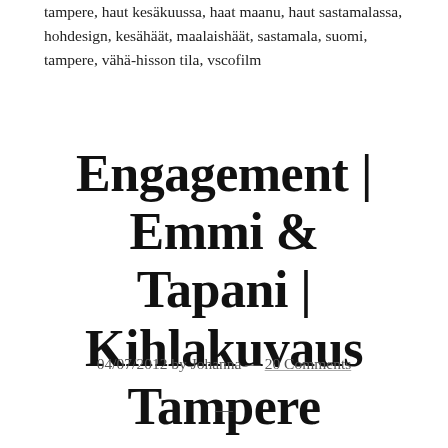tampere, haut kesäkuussa, haat maanu, haut sastamalassa, hohdesign, kesähäät, maalaishäät, sastamala, suomi, tampere, vähä-hisson tila, vscofilm
Engagement | Emmi & Tapani | Kihlakuvaus Tampere
04/07/2012 by Johanna — 20 Comments
—